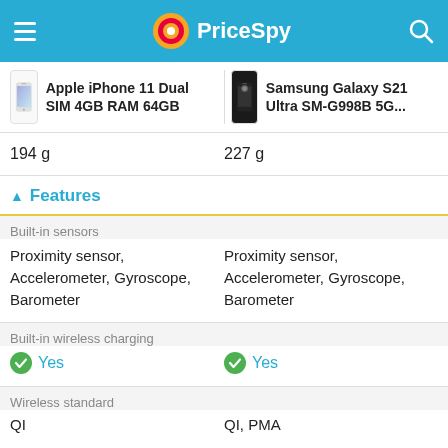PriceSpy
Apple iPhone 11 Dual SIM 4GB RAM 64GB | Samsung Galaxy S21 Ultra SM-G998B 5G...
194 g | 227 g
Features
Built-in sensors
Proximity sensor, Accelerometer, Gyroscope, Barometer | Proximity sensor, Accelerometer, Gyroscope, Barometer
Built-in wireless charging
Yes | Yes
Wireless standard
QI | QI, PMA